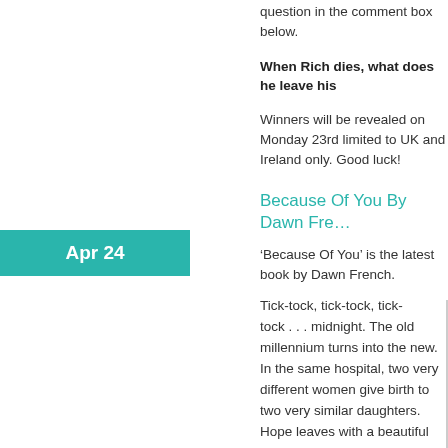question in the comment box below.
When Rich dies, what does he leave his
Winners will be revealed on Monday 23rd limited to UK and Ireland only. Good luck!
Because Of You By Dawn Fre...
'Because Of You' is the latest book by Dawn French.
Tick-tock, tick-tock, tick-tock . . . midnight. The old millennium turns into the new. In the same hospital, two very different women give birth to two very similar daughters.
Hope leaves with a beautiful baby girl. Anne leaves with empty arms